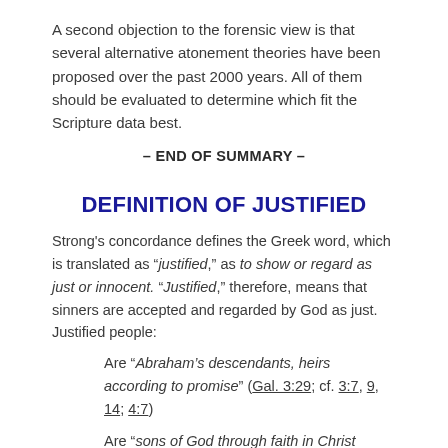A second objection to the forensic view is that several alternative atonement theories have been proposed over the past 2000 years. All of them should be evaluated to determine which fit the Scripture data best.
– END OF SUMMARY –
DEFINITION OF JUSTIFIED
Strong's concordance defines the Greek word, which is translated as "justified," as to show or regard as just or innocent. "Justified," therefore, means that sinners are accepted and regarded by God as just. Justified people:
Are "Abraham's descendants, heirs according to promise" (Gal. 3:29; cf. 3:7, 9, 14; 4:7)
Are "sons of God through faith in Christ Jesus"